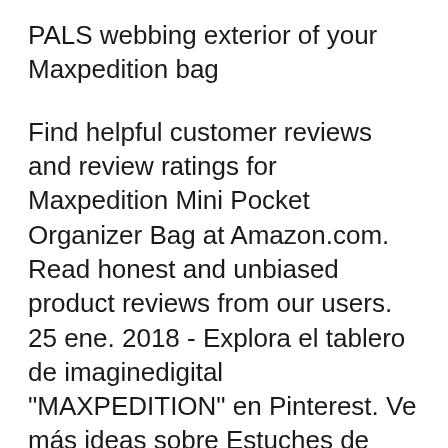PALS webbing exterior of your Maxpedition bag
Find helpful customer reviews and review ratings for Maxpedition Mini Pocket Organizer Bag at Amazon.com. Read honest and unbiased product reviews from our users. 25 ene. 2018 - Explora el tablero de imaginedigital "MAXPEDITION" en Pinterest. Ve más ideas sobre Estuches de supervivencia, Equipo de supervivencia y Edc.
Find many great new & used options and get the best deals for Maxpedition 0259B Mini Pocket Organizer Black at the best online prices at eBay! Free delivery for many products! Find many